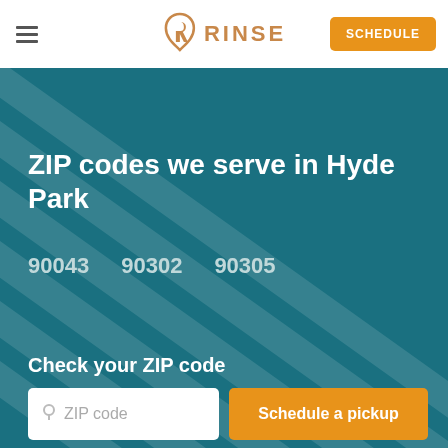RINSE
ZIP codes we serve in Hyde Park
90043   90302   90305
Check your ZIP code
ZIP code
Schedule a pickup